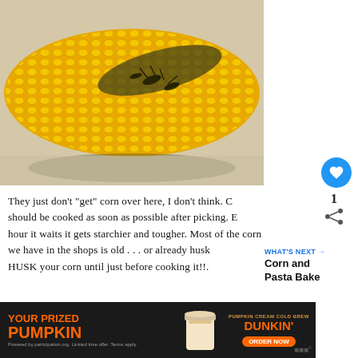[Figure (photo): Close-up photograph of corn on the cob with what appears to be a pest or insect on the kernels, placed on a light surface.]
They just don't "get" corn over here, I don't think. C should be cooked as soon as possible after picking. E hour it waits it gets starchier and tougher. Most of the corn we have in the shops is old . . . or already husk HUSK your corn until just before cooking it!!.
[Figure (infographic): WHAT'S NEXT arrow label with text 'Corn and Pasta Bake' next article recommendation.]
[Figure (photo): Partial photo at bottom of page, appears to be another food image.]
[Figure (other): Advertisement banner: YOUR PRIZED PUMPKIN - Dunkin' Pumpkin Cream Cold Brew - ORDER NOW]